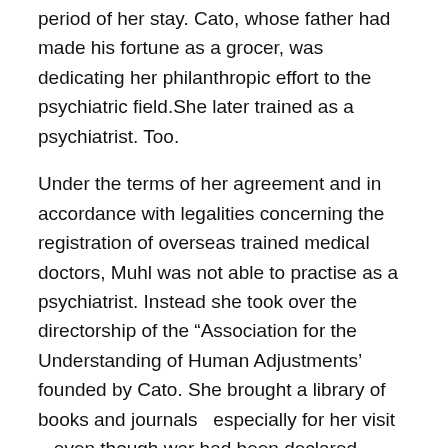period of her stay. Cato, whose father had made his fortune as a grocer, was dedicating her philanthropic effort to the psychiatric field.She later trained as a psychiatrist. Too.
Under the terms of her agreement and in accordance with legalities concerning the registration of overseas trained medical doctors, Muhl was not able to practise as a psychiatrist. Instead she took over the directorship of the “Association for the Understanding of Human Adjustments’ founded by Cato. She brought a library of books and journals  especially for her visit – even though war had been declared. Australian customs officials  confiscated these books  pending further inquiry. They were returned after representations were made through the United States Embassy in Canberra.